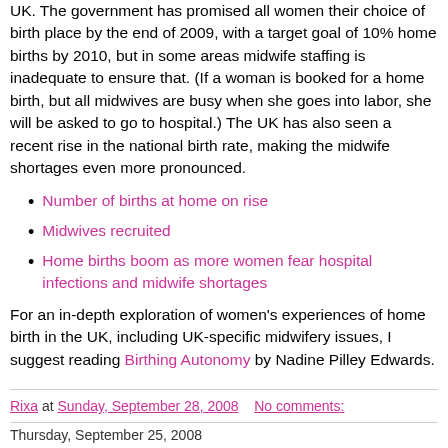UK. The government has promised all women their choice of birth place by the end of 2009, with a target goal of 10% home births by 2010, but in some areas midwife staffing is inadequate to ensure that. (If a woman is booked for a home birth, but all midwives are busy when she goes into labor, she will be asked to go to hospital.) The UK has also seen a recent rise in the national birth rate, making the midwife shortages even more pronounced.
Number of births at home on rise
Midwives recruited
Home births boom as more women fear hospital infections and midwife shortages
For an in-depth exploration of women's experiences of home birth in the UK, including UK-specific midwifery issues, I suggest reading Birthing Autonomy by Nadine Pilley Edwards.
Rixa at Sunday, September 28, 2008   No comments: